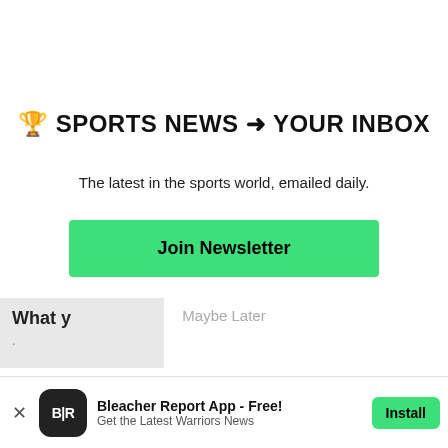🏆 SPORTS NEWS ➡ YOUR INBOX
The latest in the sports world, emailed daily.
Join Newsletter
Maybe Later
What y
Bleacher Report App - Free! Get the Latest Warriors News